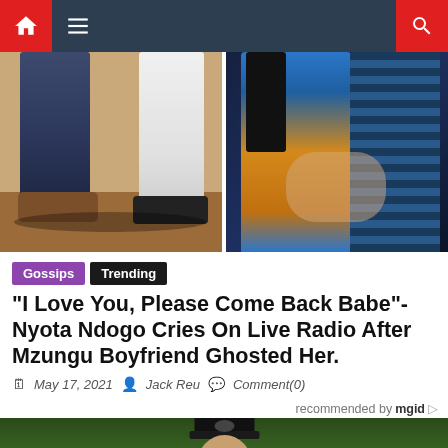Navigation bar with home, menu, and search icons
[Figure (photo): Split photo: left side shows two people's legs/feet on brown ground, right side shows a couple embracing]
Gossips  Trending
"I Love You, Please Come Back Babe"- Nyota Ndogo Cries On Live Radio After Mzungu Boyfriend Ghosted Her.
May 17, 2021  Jack Reu  Comment(0)
recommended by mgid
[Figure (photo): Person wearing a black cap outdoors with green background]